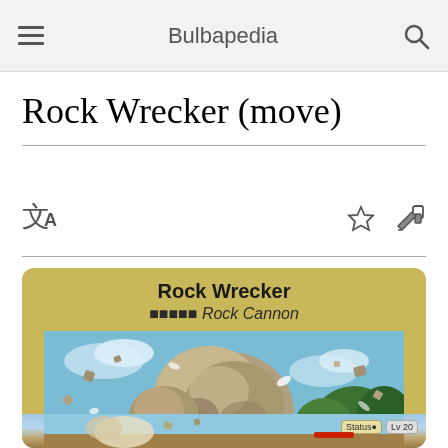Bulbapedia
Rock Wrecker (move)
[Figure (screenshot): Bulbapedia mobile article page for Rock Wrecker (move), showing a large Pokémon move info card with a rock projectile in battle scene and a second battle screenshot strip at the bottom.]